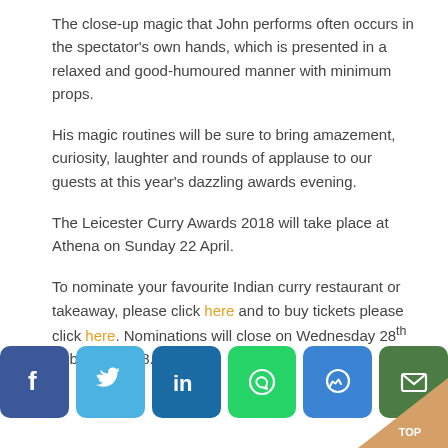The close-up magic that John performs often occurs in the spectator's own hands, which is presented in a relaxed and good-humoured manner with minimum props.
His magic routines will be sure to bring amazement, curiosity, laughter and rounds of applause to our guests at this year's dazzling awards evening.
The Leicester Curry Awards 2018 will take place at Athena on Sunday 22 April.
To nominate your favourite Indian curry restaurant or takeaway, please click here and to buy tickets please click here. Nominations will close on Wednesday 28th February 2018.
[Figure (other): Social media share icons: Facebook, Twitter, LinkedIn, WhatsApp, Messenger, Email]